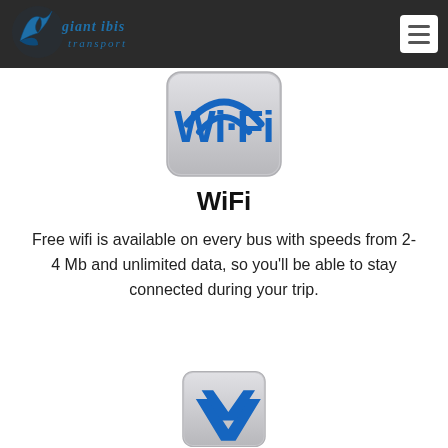Giant Ibis Transport
[Figure (logo): Giant Ibis Transport logo — blue bird emblem with stylized script text]
[Figure (illustration): WiFi icon — rounded rectangle with blue Wi-Fi symbol on silver/grey background]
WiFi
Free wifi is available on every bus with speeds from 2-4 Mb and unlimited data, so you'll be able to stay connected during your trip.
[Figure (illustration): Partial view of another service icon — blue diagonal shape on silver/grey rounded rectangle background, partially cut off at bottom]